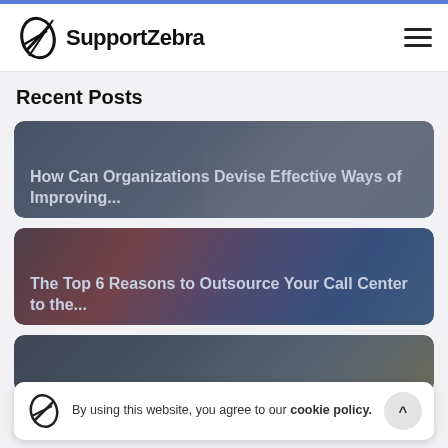SupportZebra
Recent Posts
[Figure (photo): Blog post card with dark overlay showing a person with a headset, text: How Can Organizations Devise Effective Ways of Improving...]
[Figure (photo): Blog post card with dark overlay showing colorful fabric/flags, text: The Top 6 Reasons to Outsource Your Call Center to the...]
[Figure (photo): Blog post card with dark overlay, partially visible]
By using this website, you agree to our cookie policy.